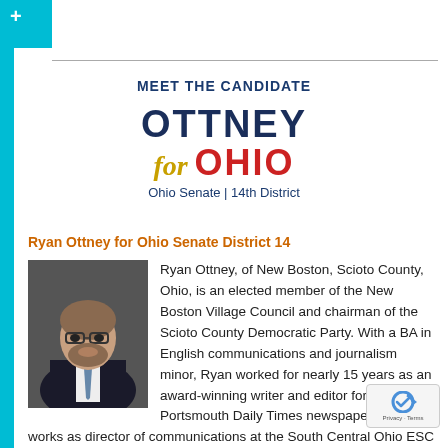MEET THE CANDIDATE
[Figure (logo): Ottney for Ohio campaign logo with text: OTTNEY for OHIO, Ohio Senate | 14th District]
Ryan Ottney for Ohio Senate District 14
[Figure (photo): Professional headshot of Ryan Ottney, a man in a dark suit and tie, against a grey background]
Ryan Ottney, of New Boston, Scioto County, Ohio, is an elected member of the New Boston Village Council and chairman of the Scioto County Democratic Party. With a BA in English communications and journalism minor, Ryan worked for nearly 15 years as an award-winning writer and editor for the Portsmouth Daily Times newspaper and now works as director of communications at the South Central Ohio ESC in...